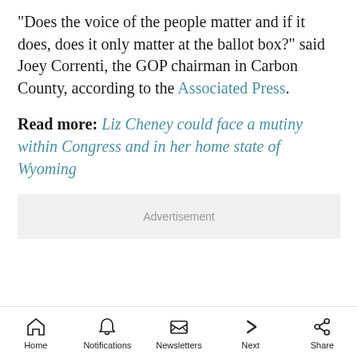"Does the voice of the people matter and if it does, does it only matter at the ballot box?" said Joey Correnti, the GOP chairman in Carbon County, according to the Associated Press.
Read more: Liz Cheney could face a mutiny within Congress and in her home state of Wyoming
Advertisement
Home | Notifications | Newsletters | Next | Share